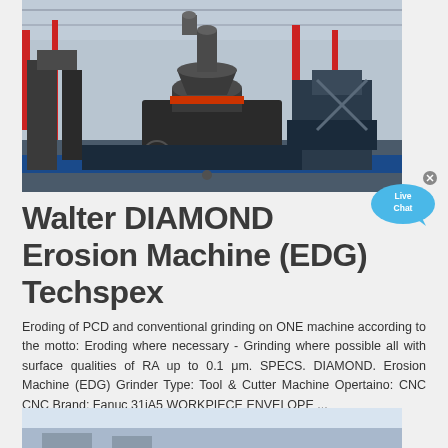[Figure (photo): Industrial machine (cone crusher or similar heavy equipment) in a factory/warehouse setting with red structural elements, multiple machines visible in background]
Walter DIAMOND Erosion Machine (EDG) Techspex
Eroding of PCD and conventional grinding on ONE machine according to the motto: Eroding where necessary - Grinding where possible all with surface qualities of RA up to 0.1 μm. SPECS. DIAMOND. Erosion Machine (EDG) Grinder Type: Tool & Cutter Machine Opertaino: CNC CNC Brand: Fanuc 31iA5 WORKPIECE ENVELOPE ...
[Figure (photo): Partial view of another machine or outdoor scene, light sky and machinery visible]